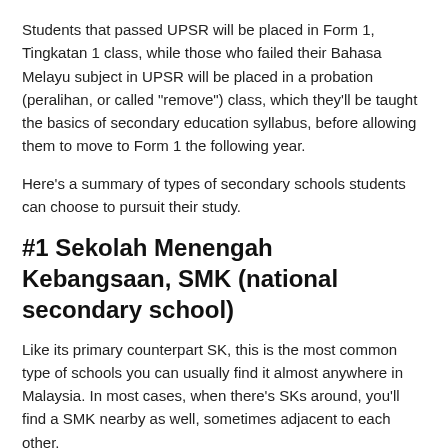Students that passed UPSR will be placed in Form 1, Tingkatan 1 class, while those who failed their Bahasa Melayu subject in UPSR will be placed in a probation (peralihan, or called "remove") class, which they'll be taught the basics of secondary education syllabus, before allowing them to move to Form 1 the following year.
Here's a summary of types of secondary schools students can choose to pursuit their study.
#1 Sekolah Menengah Kebangsaan, SMK (national secondary school)
Like its primary counterpart SK, this is the most common type of schools you can usually find it almost anywhere in Malaysia. In most cases, when there's SKs around, you'll find a SMK nearby as well, sometimes adjacent to each other.
Students will be spending the rest of their 5 years in this school (6 years for those in probation class). The 5 years